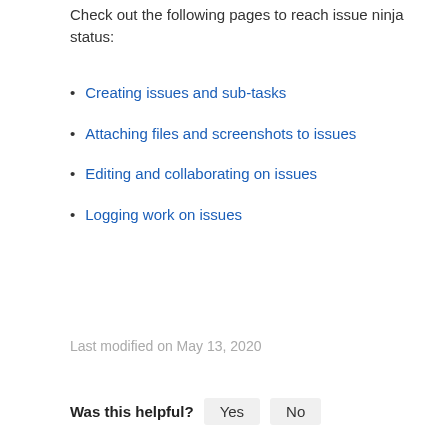Check out the following pages to reach issue ninja status:
Creating issues and sub-tasks
Attaching files and screenshots to issues
Editing and collaborating on issues
Logging work on issues
Last modified on May 13, 2020
Was this helpful?  Yes  No
In this section
Attaching files and screenshots to issues
Creating issues and sub-tasks
Editing and collaborating on issues